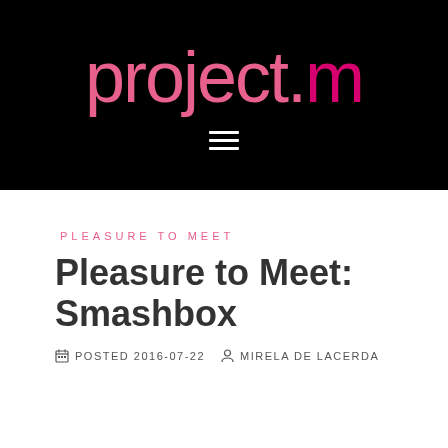[Figure (logo): project.m logo in pink text on black background with hamburger menu icon below]
PLEASURE TO MEET
Pleasure to Meet: Smashbox
POSTED 2016-07-22  MIRELA DE LACERDA